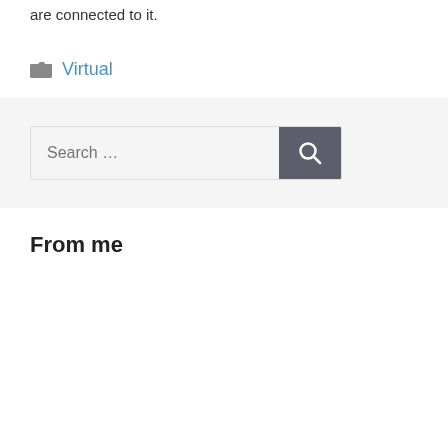are connected to it.
Virtual
[Figure (screenshot): Search bar with text field showing 'Search ...' placeholder and a dark grey search button with magnifying glass icon]
From me